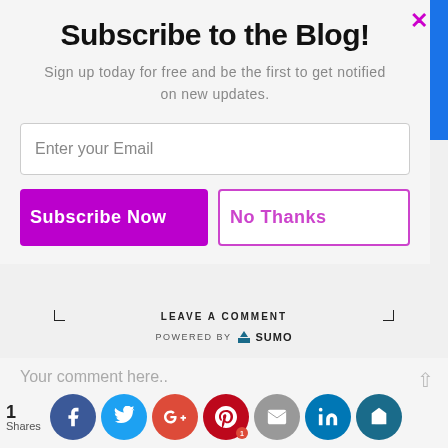Subscribe to the Blog!
Sign up today for free and be the first to get notified on new updates.
[Figure (screenshot): Email input field with placeholder 'Enter your Email']
[Figure (screenshot): Subscribe Now (purple button) and No Thanks (outline button) side by side]
LEAVE A COMMENT
POWERED BY SUMO
Your comment here..
1
Shares
[Figure (infographic): Social share icons: Facebook, Twitter, Google+, Pinterest (badge:1), Mail, LinkedIn, Sumo]